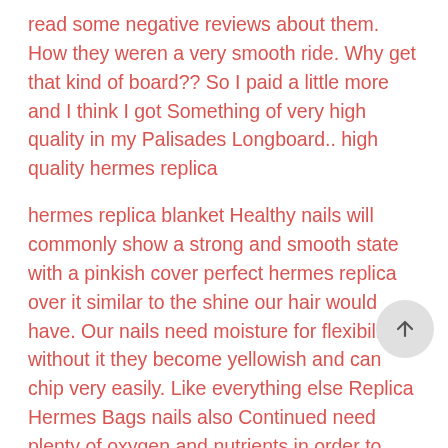read some negative reviews about them. How they weren a very smooth ride. Why get that kind of board?? So I paid a little more and I think I got Something of very high quality in my Palisades Longboard.. high quality hermes replica
hermes replica blanket Healthy nails will commonly show a strong and smooth state with a pinkish cover perfect hermes replica over it similar to the shine our hair would have. Our nails need moisture for flexibility, without it they become yellowish and can chip very easily. Like everything else Replica Hermes Bags nails also Continued need plenty of oxygen and nutrients in order to maintain them.. hermes replica blanket
high quality replica bags Utilize these reviews to